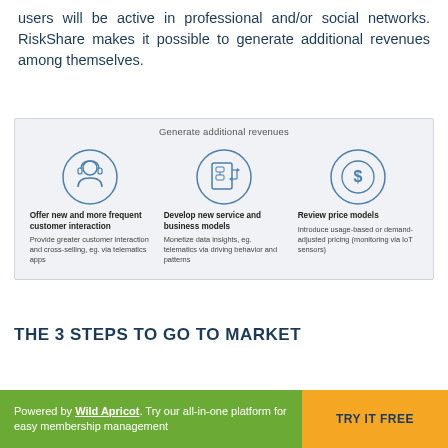users will be active in professional and/or social networks. RiskShare makes it possible to generate additional revenues among themselves.
[Figure (infographic): Infographic titled 'Generate additional revenues' with three columns: 1) Icon of customer service agent, 'Offer new and more frequent customer interaction' - 'Provide greater customer interaction and cross-selling, eg. via telematics apps'; 2) Icon of flowchart/document, 'Develop new service and business models' - 'Monetize data insights, eg. telematics via driving behavior and patterns'; 3) Icon of dollar coin, 'Review price models' - 'Introduce usage-based or demand-adjusted pricing (monitoring via IoT sensors)']
THE 3 STEPS TO GO TO MARKET
Powered by Wild Apricot. Try our all-in-one platform for easy membership management  TRY IT FREE